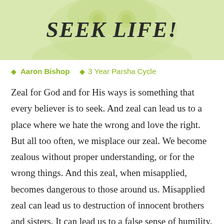[Figure (illustration): Light green decorative header banner with a faint owl or decorative motif, containing large italic bold text 'SEEK LIFE!']
Aaron Bishop   3 Year Parsha Cycle
Zeal for God and for His ways is something that every believer is to seek. And zeal can lead us to a place where we hate the wrong and love the right. But all too often, we misplace our zeal. We become zealous without proper understanding, or for the wrong things. And this zeal, when misapplied, becomes dangerous to those around us. Misapplied zeal can lead us to destruction of innocent brothers and sisters. It can lead us to a false sense of humility. We must learn to be zealous, but what exactly are we to be zealous